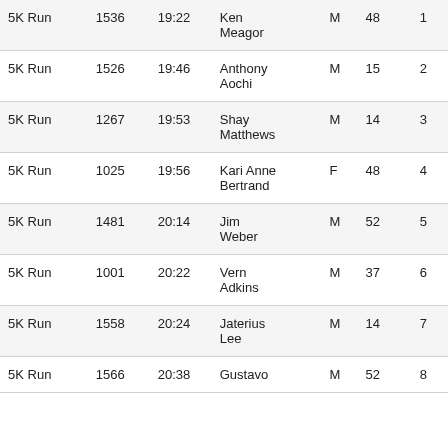| Event | Bib | Time | Name | Sex | Age | Place |
| --- | --- | --- | --- | --- | --- | --- |
| 5K Run | 1536 | 19:22 | Ken Meagor | M | 48 | 1 |
| 5K Run | 1526 | 19:46 | Anthony Aochi | M | 15 | 2 |
| 5K Run | 1267 | 19:53 | Shay Matthews | M | 14 | 3 |
| 5K Run | 1025 | 19:56 | Kari Anne Bertrand | F | 48 | 4 |
| 5K Run | 1481 | 20:14 | Jim Weber | M | 52 | 5 |
| 5K Run | 1001 | 20:22 | Vern Adkins | M | 37 | 6 |
| 5K Run | 1558 | 20:24 | Jaterius Lee | M | 14 | 7 |
| 5K Run | 1566 | 20:38 | Gustavo | M | 52 | 8 |